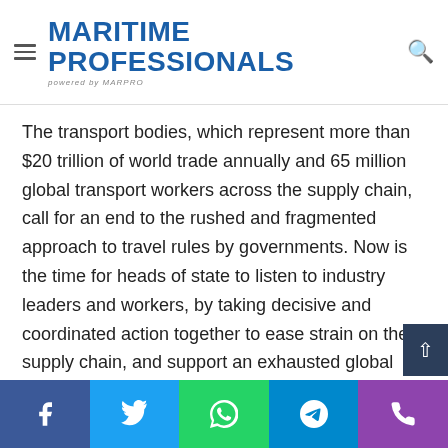MARITIME PROFESSIONALS powered by MARPRO
The transport bodies, which represent more than $20 trillion of world trade annually and 65 million global transport workers across the supply chain, call for an end to the rushed and fragmented approach to travel rules by governments. Now is the time for heads of state to listen to industry leaders and workers, by taking decisive and coordinated action together to ease strain on the supply chain, and support an exhausted global transport workforce during the busy holiday season.
Today the transport bodies also expressed frustration that governments were reneging on clear steps issued to world leaders in September to: